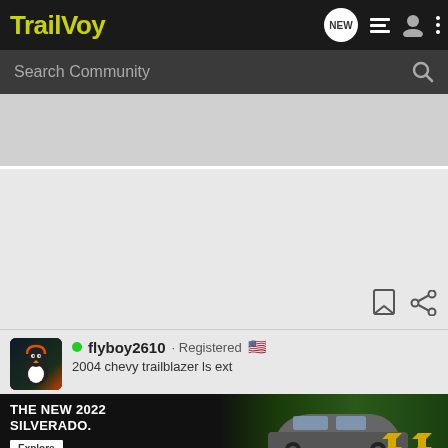TrailVoy
Search Community
[Figure (screenshot): Gray banner/advertisement placeholder area]
[Figure (infographic): Bookmark and share action icons on gray background]
flyboy2610 · Registered
2004 chevy trailblazer ls ext
[Figure (photo): Chevrolet Silverado 2022 advertisement banner. Text: THE NEW 2022 SILVERADO. with Explore button and Chevrolet logo.]